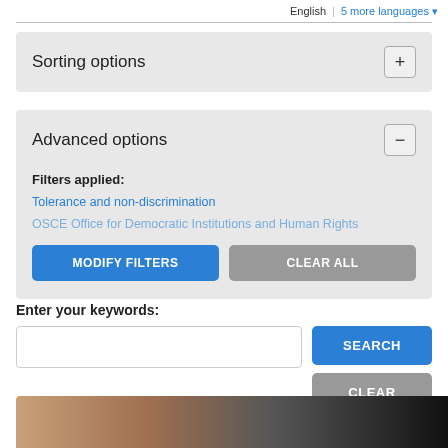English | 5 more languages
Sorting options
Advanced options
Filters applied: Tolerance and non-discrimination OSCE Office for Democratic Institutions and Human Rights
MODIFY FILTERS   CLEAR ALL
Enter your keywords:
SEARCH   CLEAR